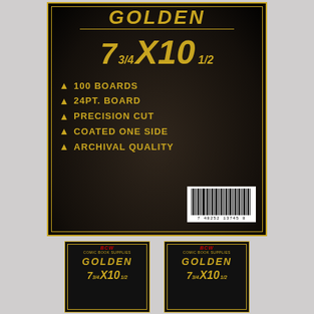[Figure (photo): Product packaging for BCW GOLDEN comic book boards, 7 3/4 x 10 1/2 inch size, 100 boards, 24pt board, precision cut, coated one side, archival quality. Black box with gold border and gold text. Barcode visible on bottom right. Two smaller thumbnail images of the same product shown below the main image.]